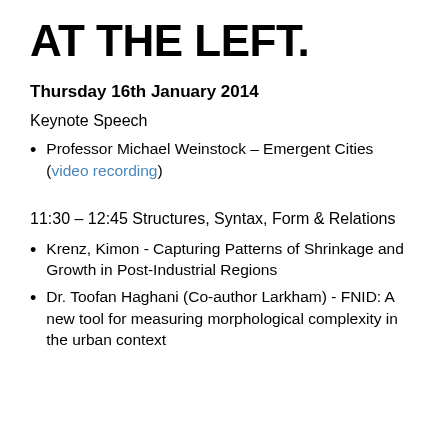AT THE LEFT.
Thursday 16th January 2014
Keynote Speech
Professor Michael Weinstock – Emergent Cities (video recording)
11:30 – 12:45 Structures, Syntax, Form & Relations
Krenz, Kimon - Capturing Patterns of Shrinkage and Growth in Post-Industrial Regions
Dr. Toofan Haghani (Co-author Larkham) - FNID: A new tool for measuring morphological complexity in the urban context